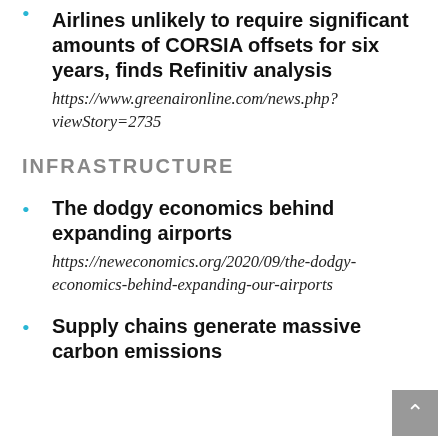Airlines unlikely to require significant amounts of CORSIA offsets for six years, finds Refinitiv analysis https://www.greenaironline.com/news.php?viewStory=2735
INFRASTRUCTURE
The dodgy economics behind expanding airports https://neweconomics.org/2020/09/the-dodgy-economics-behind-expanding-our-airports
Supply chains generate massive carbon emissions